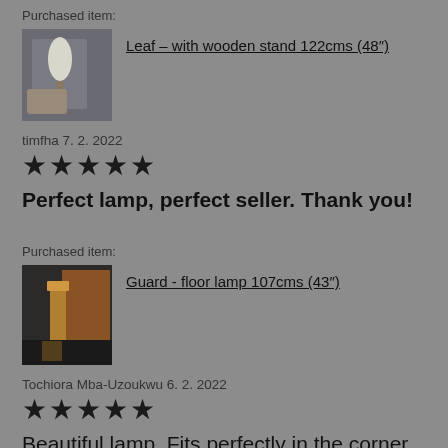Purchased item:
[Figure (photo): Product photo of Leaf lamp with wooden stand in a room setting]
Leaf – with wooden stand 122cms (48")
timfha 7. 2. 2022
★★★★★
Perfect lamp, perfect seller. Thank you!
Purchased item:
[Figure (photo): Product photo of Guard floor lamp in a room setting]
Guard - floor lamp 107cms (43")
Tochiora Mba-Uzoukwu 6. 2. 2022
★★★★★
Beautiful lamp. Fits perfectly in the corner of my space. Can't recommend more